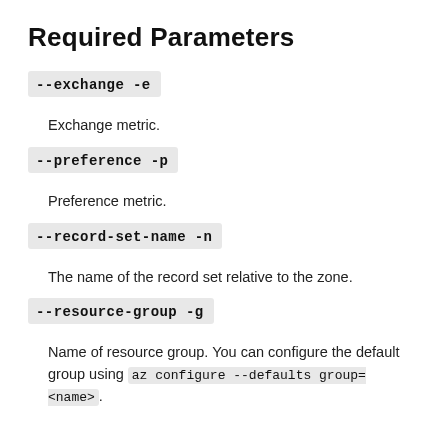Required Parameters
--exchange -e
Exchange metric.
--preference -p
Preference metric.
--record-set-name -n
The name of the record set relative to the zone.
--resource-group -g
Name of resource group. You can configure the default group using az configure --defaults group=<name>.